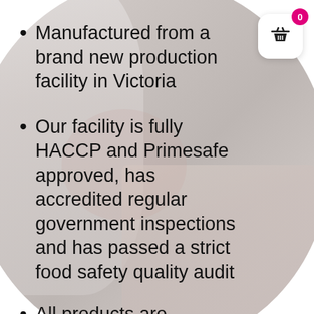[Figure (photo): Background image of a food production worker in white uniform handling food trays, shown inside an oval/circle crop. The image is light grey/washed out.]
Manufactured from a brand new production facility in Victoria
Our facility is fully HACCP and Primesafe approved, has accredited regular government inspections and has passed a strict food safety quality audit
All products are manufactured according to a HACCP food safety standards program, ensuring the highest quality with